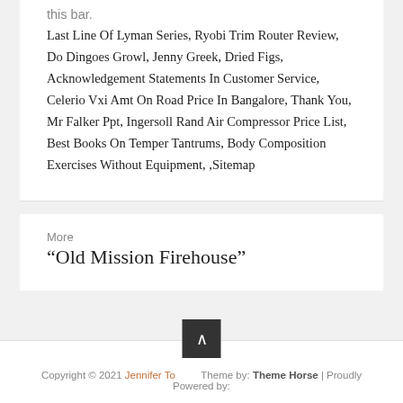this bar.
Last Line Of Lyman Series, Ryobi Trim Router Review, Do Dingoes Growl, Jenny Greek, Dried Figs, Acknowledgement Statements In Customer Service, Celerio Vxi Amt On Road Price In Bangalore, Thank You, Mr Falker Ppt, Ingersoll Rand Air Compressor Price List, Best Books On Temper Tantrums, Body Composition Exercises Without Equipment, ,Sitemap
More
“Old Mission Firehouse”
Copyright © 2021 Jennifer To... Theme by: Theme Horse | Proudly Powered by: